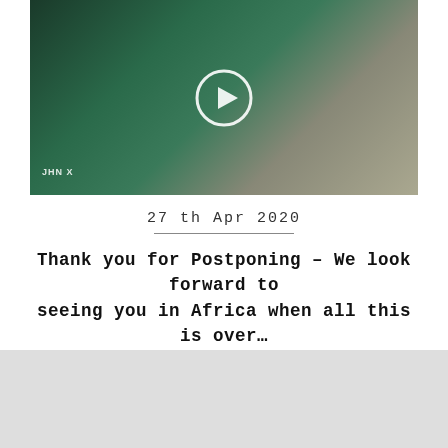[Figure (photo): Video thumbnail showing a person in outdoor clothing sitting in or next to a dark green vintage vehicle, with a circular play button overlay. Watermark reads 'JHN X' in bottom-left corner.]
27th Apr 2020
Thank you for Postponing – We look forward to seeing you in Africa when all this is over…